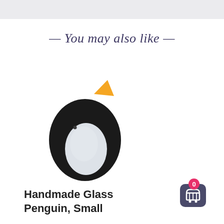— You may also like —
[Figure (photo): A small handmade glass penguin figurine with a black body, white front, and orange beak/crest on top, photographed on a white background.]
Handmade Glass Penguin, Small
[Figure (infographic): Shopping cart icon button with a pink badge showing the number 0, on a dark purple/grey rounded square button.]